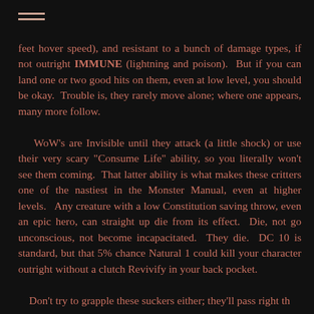feet hover speed), and resistant to a bunch of damage types, if not outright IMMUNE (lightning and poison). But if you can land one or two good hits on them, even at low level, you should be okay. Trouble is, they rarely move alone; where one appears, many more follow.

WoW's are Invisible until they attack (a little shock) or use their very scary "Consume Life" ability, so you literally won't see them coming. That latter ability is what makes these critters one of the nastiest in the Monster Manual, even at higher levels. Any creature with a low Constitution saving throw, even an epic hero, can straight up die from its effect. Die, not go unconscious, not become incapacitated. They die. DC 10 is standard, but that 5% chance Natural 1 could kill your character outright without a clutch Revivify in your back pocket.

Don't try to grapple these suckers either; they'll pass right through and...